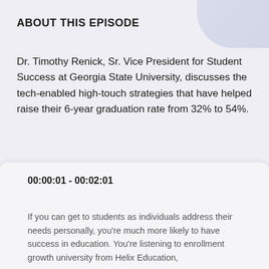ABOUT THIS EPISODE
Dr. Timothy Renick, Sr. Vice President for Student Success at Georgia State University, discusses the tech-enabled high-touch strategies that have helped raise their 6-year graduation rate from 32% to 54%.
00:00:01 - 00:02:01
If you can get to students as individuals address their needs personally, you're much more likely to have success in education. You're listening to enrollment growth university from Helix Education,